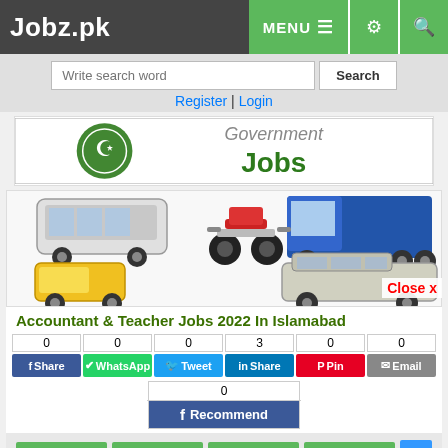Jobz.pk | MENU | settings | search
Write search word | Search
Register | Login
[Figure (logo): Government Jobs banner with emblem logo]
[Figure (photo): Vehicles image: bus, truck, motorcycle, rickshaw, SUV]
Accountant & Teacher Jobs 2022 In Islamabad
Share buttons: 0 Share (Facebook), 0 WhatsApp, 0 Tweet, 3 Share (LinkedIn), 0 Pin, 0 Email, 0 Recommend (Facebook)
Job Closed | Save | Comment | Print | ^ | Your Email